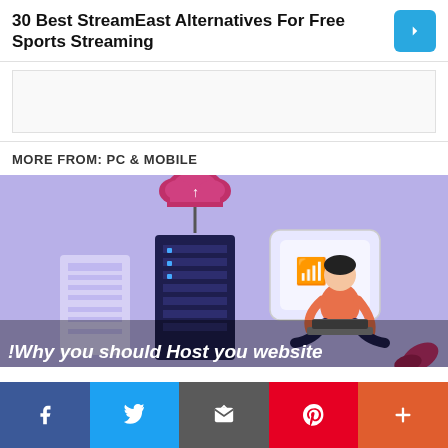30 Best StreamEast Alternatives For Free Sports Streaming
[Figure (illustration): Blue/purple illustration showing server racks, a person sitting with laptop, cloud upload icon, and wifi symbol on a purple background]
MORE FROM: PC & MOBILE
!Why you should Host you website
Social share bar with Facebook, Twitter, Email, Pinterest, and More buttons